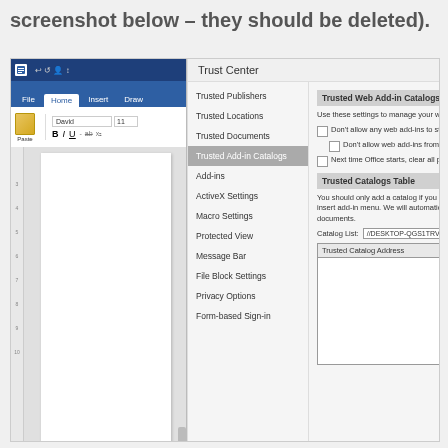screenshot below – they should be deleted).
[Figure (screenshot): Screenshot of Microsoft Word with Trust Center dialog open showing Trusted Add-in Catalogs settings. Left side shows Word ribbon with Home tab active, Paste, font selector showing 'David', size 11, bold/italic/underline buttons. Right side shows Trust Center with navigation menu (Trusted Publishers, Trusted Locations, Trusted Documents, Trusted Add-in Catalogs highlighted, Add-ins, ActiveX Settings, Macro Settings, Protected View, Message Bar, File Block Settings, Privacy Options, Form-based Sign-in) and content panel showing Trusted Web Add-in Catalogs section with checkboxes and Trusted Catalogs Table section with Catalog List showing //DESKTOP-QGS1TRV/A... and a Trusted Catalog Address table below.]